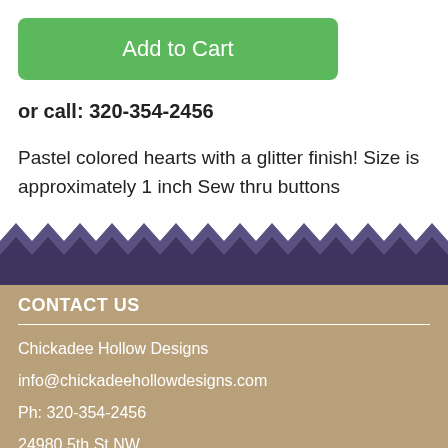Add to Cart
or call: 320-354-2456
Pastel colored hearts with a glitter finish! Size is approximately 1 inch Sew thru buttons
[Figure (illustration): Purple zigzag/chevron wave border divider between content and footer]
CONTACT US
Chickadee Hollow Designs
info@chickadeehollowdesigns.com
Ph: 320-354-2456
24980 5th St NW
New London, MN 56273
Hours: